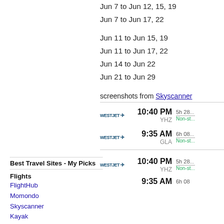Jun 7 to Jun 12, 15, 19
Jun 7 to Jun 17, 22
Jun 11 to Jun 15, 19
Jun 11 to Jun 17, 22
Jun 14 to Jun 22
Jun 21 to Jun 29
screenshots from Skyscanner
[Figure (screenshot): WestJet flight listing showing 10:40 PM YHZ 5h 28m Non-stop]
[Figure (screenshot): WestJet flight listing showing 9:35 AM GLA 6h 08m Non-stop]
Best Travel Sites - My Picks
Flights
FlightHub
Momondo
Skyscanner
Kayak
Google Flights
ITA Matrix
[Figure (screenshot): WestJet flight listing showing 10:40 PM YHZ 5h 28m Non-stop (second instance)]
9:35 AM  6h 08